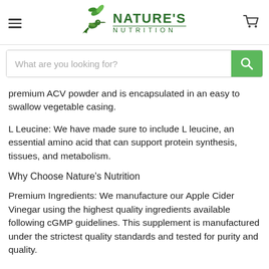Nature's Nutrition
premium ACV powder and is encapsulated in an easy to swallow vegetable casing.
L Leucine: We have made sure to include L leucine, an essential amino acid that can support protein synthesis, tissues, and metabolism.
Why Choose Nature's Nutrition
Premium Ingredients: We manufacture our Apple Cider Vinegar using the highest quality ingredients available following cGMP guidelines. This supplement is manufactured under the strictest quality standards and tested for purity and quality.